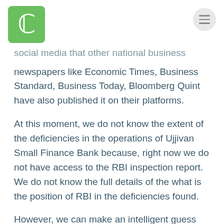C [logo] [menu icon]
social media that other national business newspapers like Economic Times, Business Standard, Business Today, Bloomberg Quint have also published it on their platforms.
At this moment, we do not know the extent of the deficiencies in the operations of Ujjivan Small Finance Bank because, right now we do not have access to the RBI inspection report. We do not know the full details of the what is the position of RBI in the deficiencies found.
However, we can make an intelligent guess about how severe/damaging the findings are by looking at how RBI has dealt with deficiencies found at certain other banks.